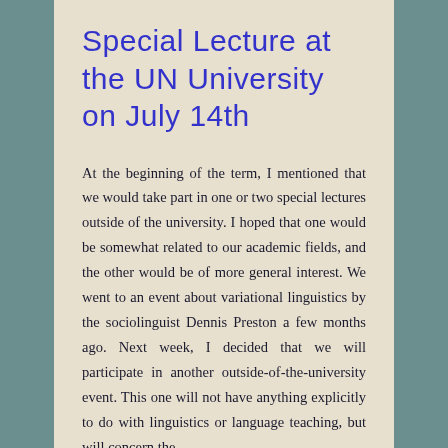Special Lecture at the UN University on July 14th
At the beginning of the term, I mentioned that we would take part in one or two special lectures outside of the university. I hoped that one would be somewhat related to our academic fields, and the other would be of more general interest. We went to an event about variational linguistics by the sociolinguist Dennis Preston a few months ago. Next week, I decided that we will participate in another outside-of-the-university event. This one will not have anything explicitly to do with linguistics or language teaching, but will concern the